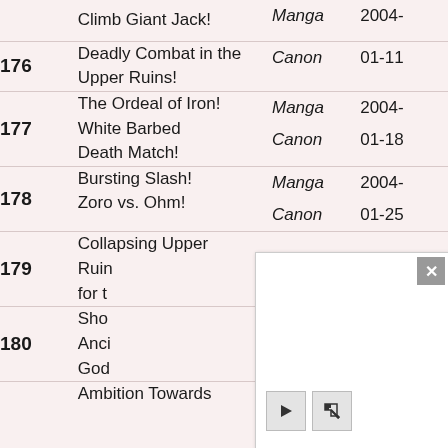| # | Title | Type | Date |
| --- | --- | --- | --- |
|  | Climb Giant Jack! | Manga | 2004- |
| 176 | Deadly Combat in the Upper Ruins! | Canon | 01-11 |
| 177 | The Ordeal of Iron! White Barbed Death Match! | Manga Canon | 2004-01-18 |
| 178 | Bursting Slash! Zoro vs. Ohm! | Manga Canon | 2004-01-25 |
| 179 | Collapsing Upper Ruins for t... |  |  |
| 180 | Sho... Anci... God... |  |  |
|  | Ambition Towards |  |  |
[Figure (screenshot): A popup/modal overlay box with a gray X close button in the top-right corner, a play button and a cursor/pointer button at the bottom left, overlaying the lower portion of the table.]